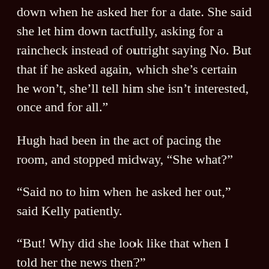down when he asked her for a date. She said she let him down tactfully, asking for a raincheck instead of outright saying No. But that if he asked again, which she’s certain he won’t, she’ll tell him she isn’t interested, once and for all.”
Hugh had been in the act of pacing the room, and stopped midway, “She what?”
“Said no to him when he asked her out,” said Kelly patiently.
“But! Why did she look like that when I told her the news then?”